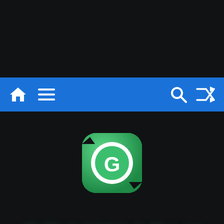[Figure (screenshot): Dark top area of a mobile/web interface]
[Figure (screenshot): Blue navigation bar with home icon, hamburger menu on left, search and shuffle icons on right]
[Figure (logo): Grammarly 3D green logo icon — rounded square with arrow refresh motif and large G letter in white circle center, with GRAMMARLY text below in 3D green letters on dark background]